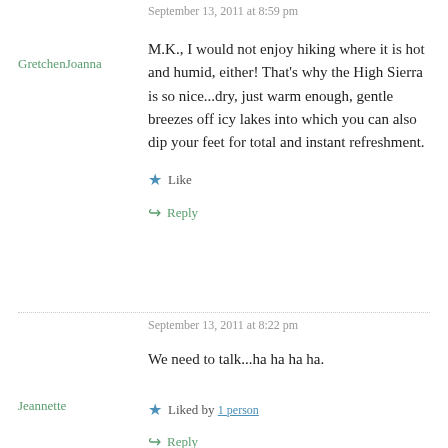September 13, 2011 at 8:59 pm
GretchenJoanna
M.K., I would not enjoy hiking where it is hot and humid, either! That's why the High Sierra is so nice...dry, just warm enough, gentle breezes off icy lakes into which you can also dip your feet for total and instant refreshment.
Like
Reply
September 13, 2011 at 8:22 pm
We need to talk...ha ha ha ha.
Jeannette
Liked by 1 person
Reply